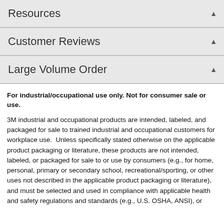Resources
Customer Reviews
Large Volume Order
For industrial/occupational use only. Not for consumer sale or use.
3M industrial and occupational products are intended, labeled, and packaged for sale to trained industrial and occupational customers for workplace use.  Unless specifically stated otherwise on the applicable product packaging or literature, these products are not intended, labeled, or packaged for sale to or use by consumers (e.g., for home, personal, primary or secondary school, recreational/sporting, or other uses not described in the applicable product packaging or literature), and must be selected and used in compliance with applicable health and safety regulations and standards (e.g., U.S. OSHA, ANSI), or